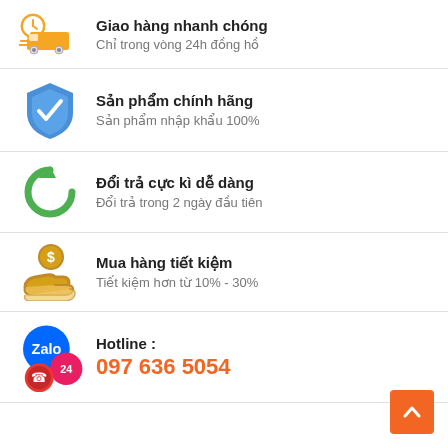Giao hàng nhanh chóng
Chỉ trong vòng 24h đồng hồ
Sản phẩm chính hãng
Sản phẩm nhập khẩu 100%
Đổi trả cực kì dễ dàng
Đổi trả trong 2 ngày đầu tiên
Mua hàng tiết kiệm
Tiết kiệm hơn từ 10% - 30%
Hotline :
097 636 5054